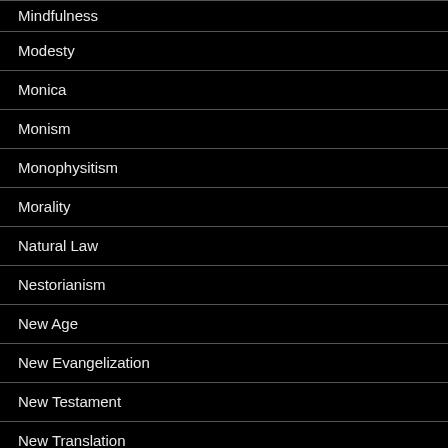Mindfulness
Modesty
Monica
Monism
Monophysitism
Morality
Natural Law
Nestorianism
New Age
New Evangelization
New Testament
New Translation
Nominalism